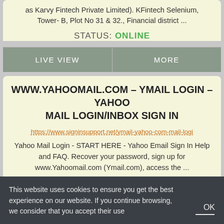as Karvy Fintech Private Limited). KFintech Selenium, Tower- B, Plot No 31 & 32., Financial district ...
STATUS: ONLINE
LIVE VIEW
MORE
WWW.YAHOOMAIL.COM – YMAIL LOGIN – YAHOO MAIL LOGIN/INBOX SIGN IN
https://www.signinsupport.net/ymail-yahoo-com-mail-logi
Yahoo Mail Login - START HERE - Yahoo Email Sign In Help and FAQ. Recover your password, sign up for www.Yahoomail.com (Ymail.com), access the ...
This website uses cookies to ensure you get the best experience on our website. If you continue browsing, we consider that you accept their use